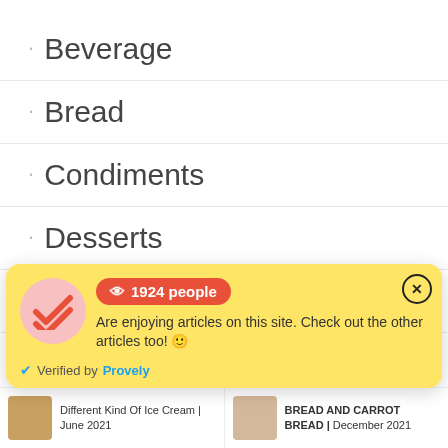Beverage
Bread
Condiments
Desserts
Filipino dishes
Ice Cream
[Figure (infographic): Yellow popup notification showing 1924 people are enjoying articles, with a red checkmark icon and 'Verified by Provely' text]
Different Kind Of Ice Cream | June 2021
BREAD AND CARROT BREAD | December 2021